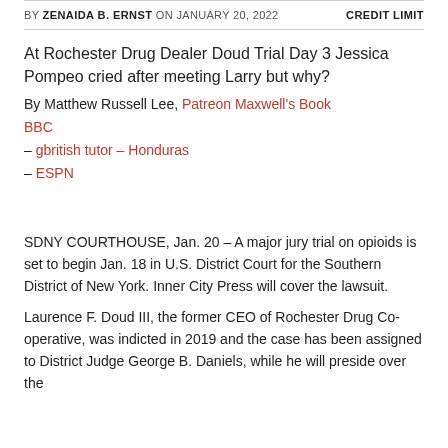BY ZENAIDA B. ERNST ON JANUARY 20, 2022    CREDIT LIMIT
At Rochester Drug Dealer Doud Trial Day 3 Jessica Pompeo cried after meeting Larry but why?
By Matthew Russell Lee, Patreon Maxwell's Book
BBC
– gbritish tutor – Honduras
– ESPN
SDNY COURTHOUSE, Jan. 20 – A major jury trial on opioids is set to begin Jan. 18 in U.S. District Court for the Southern District of New York. Inner City Press will cover the lawsuit.
Laurence F. Doud III, the former CEO of Rochester Drug Co-operative, was indicted in 2019 and the case has been assigned to District Judge George B. Daniels, while he will preside over the